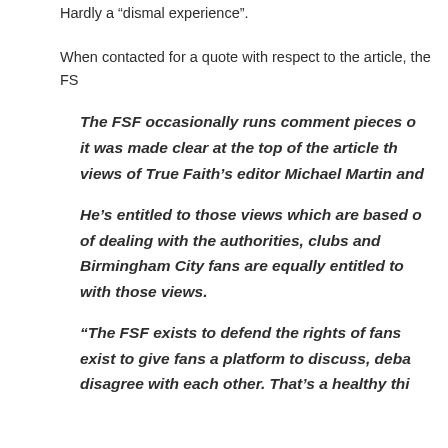Hardly a “dismal experience”.
When contacted for a quote with respect to the article, the FS
The FSF occasionally runs comment pieces o... it was made clear at the top of the article th... views of True Faith’s editor Michael Martin and
He’s entitled to those views which are based o... of dealing with the authorities, clubs and... Birmingham City fans are equally entitled to... with those views.
“The FSF exists to defend the rights of fans... exist to give fans a platform to discuss, deba... disagree with each other. That’s a healthy thi